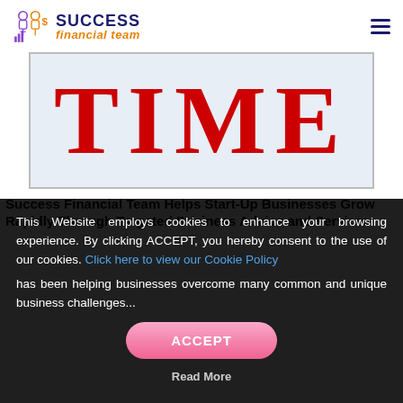SUCCESS financial team
[Figure (logo): TIME magazine logo in large red serif bold text on light blue background, bordered rectangle]
Success Financial Team Helps Start-Up Businesses Grow Rapidly Through Targeted Business Advice and Services
This Website employs cookies to enhance your browsing experience. By clicking ACCEPT, you hereby consent to the use of our cookies. Click here to view our Cookie Policy
has been helping businesses overcome many common and unique business challenges...
Read More